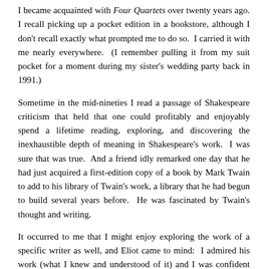I became acquainted with Four Quartets over twenty years ago. I recall picking up a pocket edition in a bookstore, although I don't recall exactly what prompted me to do so. I carried it with me nearly everywhere. (I remember pulling it from my suit pocket for a moment during my sister's wedding party back in 1991.)
Sometime in the mid-nineties I read a passage of Shakespeare criticism that held that one could profitably and enjoyably spend a lifetime reading, exploring, and discovering the inexhaustible depth of meaning in Shakespeare's work. I was sure that was true. And a friend idly remarked one day that he had just acquired a first-edition copy of a book by Mark Twain to add to his library of Twain's work, a library that he had begun to build several years before. He was fascinated by Twain's thought and writing.
It occurred to me that I might enjoy exploring the work of a specific writer as well, and Eliot came to mind: I admired his work (what I knew and understood of it) and I was confident that the depth of his thought and craft would be as inexhaustible for me as Shakespeare's.
At that I began to read Four Quartets once more. I came to...